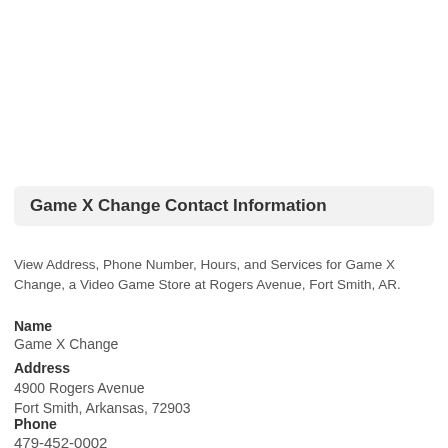Game X Change Contact Information
View Address, Phone Number, Hours, and Services for Game X Change, a Video Game Store at Rogers Avenue, Fort Smith, AR.
Name
Game X Change
Address
4900 Rogers Avenue
Fort Smith, Arkansas, 72903
Phone
479-452-0002